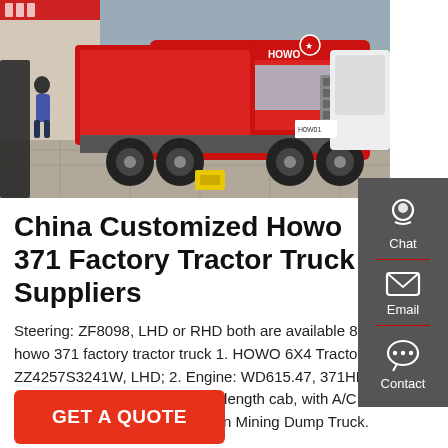[Figure (photo): Red HOWO 371 tractor truck parked in a factory/yard setting, with a person visible in the background, yellow wheel chocks visible, multiple trucks in frame.]
China Customized Howo 371 Factory Tractor Truck Suppliers
Steering: ZF8098, LHD or RHD both are available 8 howo 371 factory tractor truck 1. HOWO 6X4 Tractor ZZ4257S3241W, LHD; 2. Engine: WD615.47, 371HP Euro II emission 3. Cab: HW76 length cab, with A/C with one sleeper 4. Howo 70 Ton Mining Dump Truck.
[Figure (other): Chat icon (headset silhouette) in sidebar]
[Figure (other): Email icon (envelope) in sidebar]
[Figure (other): Contact icon (speech bubble with dots) in sidebar]
GET A QUOTE